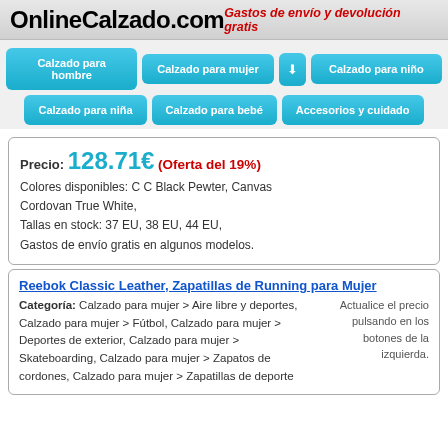OnlineCalzado.com
Gastos de envío y devolución gratis
Calzado para hombre
Calzado para mujer
Calzado para niño
Calzado para niña
Calzado para bebé
Accesorios y cuidado
Precio: 128.71€ (Oferta del 19%)
Colores disponibles: C C Black Pewter, Canvas Cordovan True White,
Tallas en stock: 37 EU, 38 EU, 44 EU,
Gastos de envío gratis en algunos modelos.
Reebok Classic Leather, Zapatillas de Running para Mujer
Categoría: Calzado para mujer > Aire libre y deportes, Calzado para mujer > Fútbol, Calzado para mujer > Deportes de exterior, Calzado para mujer > Skateboarding, Calzado para mujer > Zapatos de cordones, Calzado para mujer > Zapatillas de deporte
Actualice el precio pulsando en los botones de la izquierda.